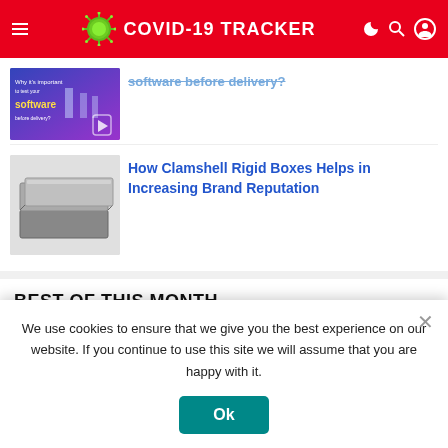COVID-19 TRACKER
[Figure (screenshot): Partially visible article thumbnail with purple/blue background showing software-related text]
software before delivery?
[Figure (photo): Photo of clamshell rigid boxes stacked, gray/dark colored packaging boxes]
How Clamshell Rigid Boxes Helps in Increasing Brand Reputation
BEST OF THIS MONTH
Guest Post Website
We use cookies to ensure that we give you the best experience on our website. If you continue to use this site we will assume that you are happy with it.